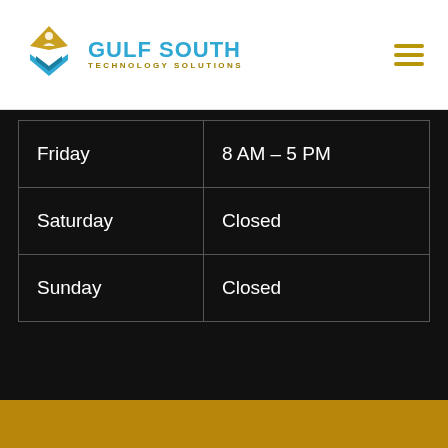Gulf South Technology Solutions
| Friday | 8 AM – 5 PM |
| Saturday | Closed |
| Sunday | Closed |
©2022 Gulf South Technology Solutions LLC. Privacy Policy | Terms and Conditions | Sitemap